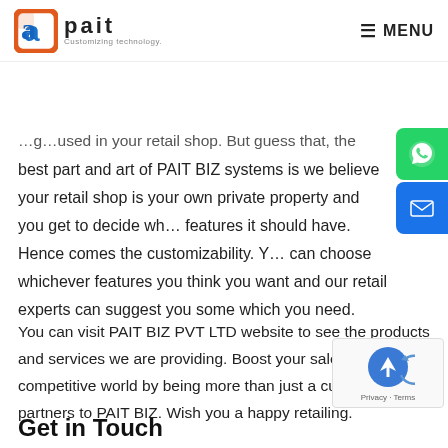PAIT - Customizing technology. MENU
…g…used in your retail shop. But guess that, the best part and art of PAIT BIZ systems is we believe your retail shop is your own private property and you get to decide wh… features it should have. Hence comes the customizability. Y… can choose whichever features you think you want and our retail experts can suggest you some which you need.
You can visit PAIT BIZ PVT LTD website to see the products and services we are providing. Boost your sales in this competitive world by being more than just a customer but partners to PAIT BIZ. Wish you a happy retailing.
Get in Touch